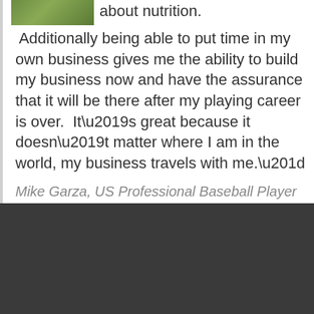[Figure (photo): Partial photo of a person or outdoor scene with green/nature tones, cropped at top-left]
about nutrition.
Additionally being able to put time in my own business gives me the ability to build my business now and have the assurance that it will be there after my playing career is over.  It’s great because it doesn’t matter where I am in the world, my business travels with me.”
Mike Garza, US Professional Baseball Player